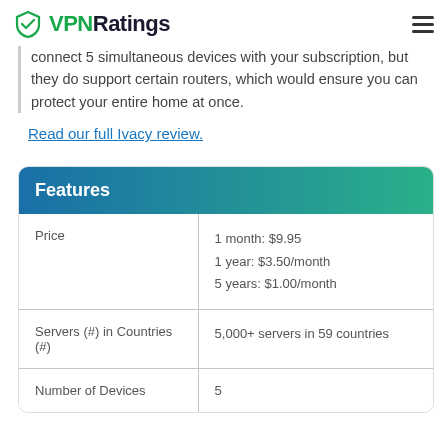VPNRatings
connect 5 simultaneous devices with your subscription, but they do support certain routers, which would ensure you can protect your entire home at once.
Read our full Ivacy review.
| Features |  |
| --- | --- |
| Price | 1 month: $9.95
1 year: $3.50/month
5 years: $1.00/month |
| Servers (#) in Countries (#) | 5,000+ servers in 59 countries |
| Number of Devices | 5 |